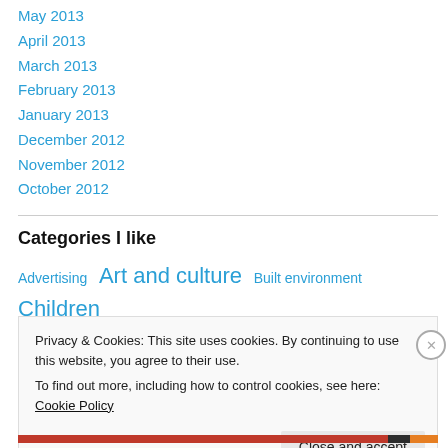May 2013
April 2013
March 2013
February 2013
January 2013
December 2012
November 2012
October 2012
Categories I like
Advertising  Art and culture  Built environment  Children
Privacy & Cookies: This site uses cookies. By continuing to use this website, you agree to their use.
To find out more, including how to control cookies, see here: Cookie Policy
Close and accept